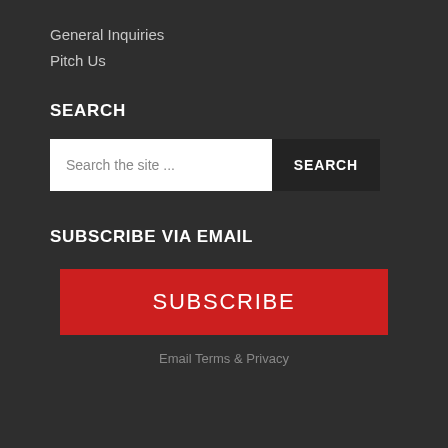General Inquiries
Pitch Us
SEARCH
Search the site ...
SUBSCRIBE VIA EMAIL
SUBSCRIBE
Email Terms & Privacy